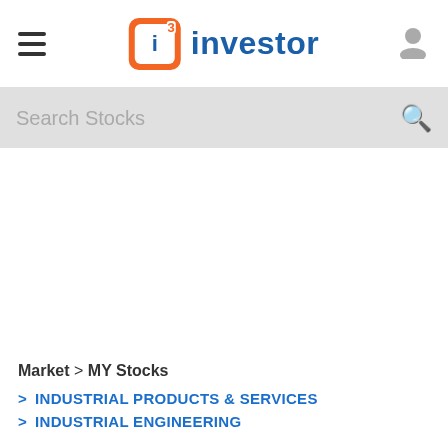i3 investor
Search Stocks
Market > MY Stocks > INDUSTRIAL PRODUCTS & SERVICES > INDUSTRIAL ENGINEERING